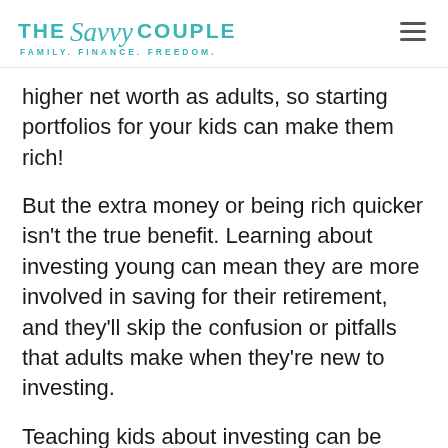THE Savvy COUPLE — FAMILY. FINANCE. FREEDOM.
higher net worth as adults, so starting portfolios for your kids can make them rich!
But the extra money or being rich quicker isn't the true benefit. Learning about investing young can mean they are more involved in saving for their retirement, and they'll skip the confusion or pitfalls that adults make when they're new to investing.
Teaching kids about investing can be tricky as